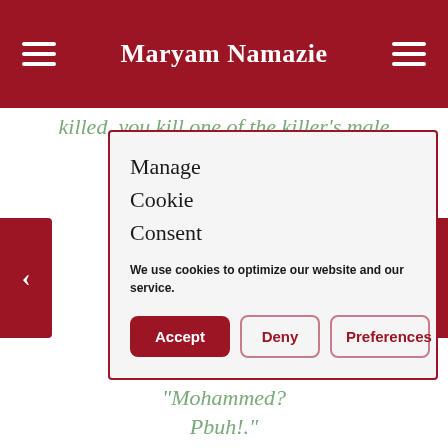Maryam Namazie
killed, you kill one of the killer's male
Manage Cookie Consent
We use cookies to optimize our website and our service.
Accept | Deny | Preferences
exclamation: "Mohammed? Pbuh!."